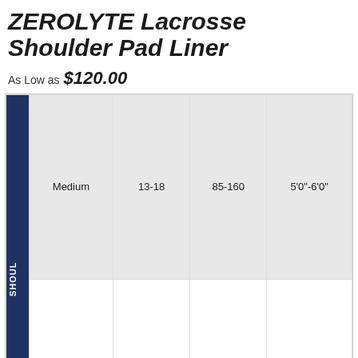ZEROLYTE Lacrosse Shoulder Pad Liner
As Low as $120.00
|  |  | Age | Weight (lbs) | Height |
| --- | --- | --- | --- | --- |
| SHOUL | Medium | 13-18 | 85-160 | 5'0"-6'0" |
| SHOUL | Large | 15-30+ | 150+ | 5'7"+ |
LIGHTWEIGHT, FLEXIBLE PROTECTION MADE FOR SPEED & MOBILITY
[Figure (photo): Photo of a white lacrosse shoulder pad liner with ventilation slots and a blue triangle logo]